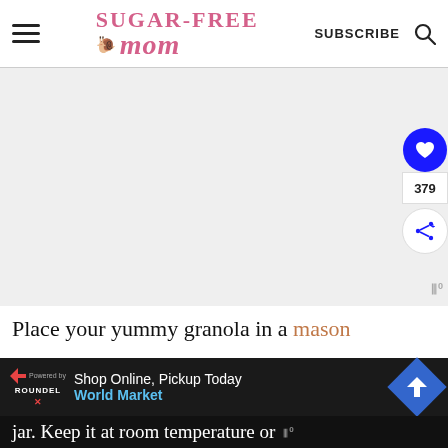Sugar-Free Mom — SUBSCRIBE (search icon)
[Figure (screenshot): Large whitespace/blank image area in the main content region of a Sugar-Free Mom recipe website page]
Place your yummy granola in a mason
Shop Online, Pickup Today World Market (advertisement banner)